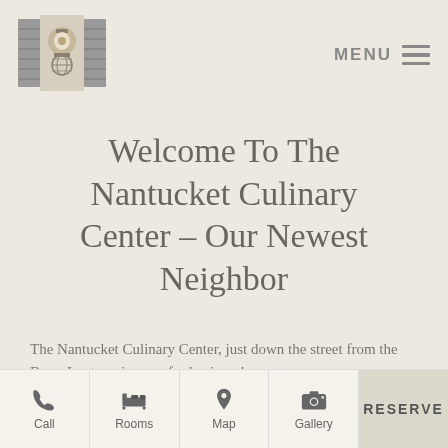MENU
Welcome To The Nantucket Culinary Center – Our Newest Neighbor
The Nantucket Culinary Center, just down the street from the Brass Lantern, is open for business!
The extensive renovation, which began in 2014, has transformed a lovely Greek revival style building that had been sadly in need of attention, into a three level
Call  Rooms  Map  Gallery  RESERVE